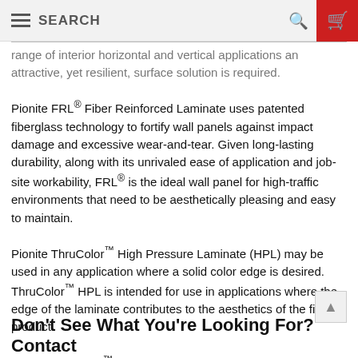SEARCH
range of interior horizontal and vertical applications an attractive, yet resilient, surface solution is required.
Pionite FRL® Fiber Reinforced Laminate uses patented fiberglass technology to fortify wall panels against impact damage and excessive wear-and-tear. Given long-lasting durability, along with its unrivaled ease of application and job-site workability, FRL® is the ideal wall panel for high-traffic environments that need to be aesthetically pleasing and easy to maintain.
Pionite ThruColor™ High Pressure Laminate (HPL) may be used in any application where a solid color edge is desired. ThruColor™ HPL is intended for use in applications where the edge of the laminate contributes to the aesthetics of the final product.
Pionite ThickLam™ Thick Phenolic is designed for applications where the decorative surface must contribute to the structural stability of the finished assembly. It is available with decorative paper on one or both sides.
Don't See What You're Looking For? Contact